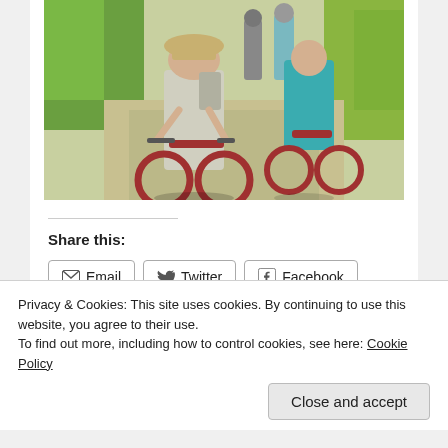[Figure (photo): People riding bicycles along a dirt/paved trail surrounded by green and dry vegetation, outdoor sunny day.]
Share this:
[Figure (other): Email, Twitter, Facebook share buttons and a Like button with two thumbnail images]
2 bloggers like this.
Privacy & Cookies: This site uses cookies. By continuing to use this website, you agree to their use.
To find out more, including how to control cookies, see here: Cookie Policy
Close and accept